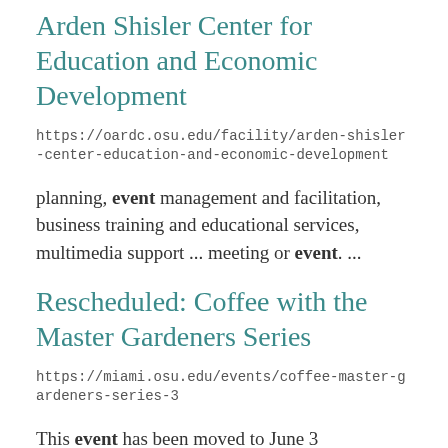Arden Shisler Center for Education and Economic Development
https://oardc.osu.edu/facility/arden-shisler-center-education-and-economic-development
planning, event management and facilitation, business training and educational services, multimedia support ... meeting or event. ...
Rescheduled: Coffee with the Master Gardeners Series
https://miami.osu.edu/events/coffee-master-gardeners-series-3
This event has been moved to June 3